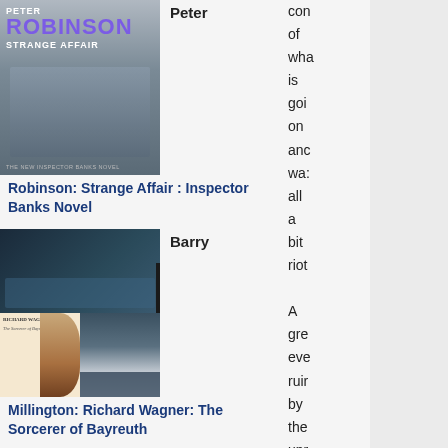[Figure (photo): Book cover: Peter Robinson Strange Affair - Inspector Banks Novel]
Peter
Robinson: Strange Affair : Inspector Banks Novel
[Figure (photo): Book cover: Barry Millington Richard Wagner The Sorcerer of Bayreuth - collage of four images]
Barry
Millington: Richard Wagner: The Sorcerer of Bayreuth
D. E. Stevenson: Mrs. Tim
con of wha is goi on anc wa all a bit riot A gre eve ruir by the unr 'sin in the